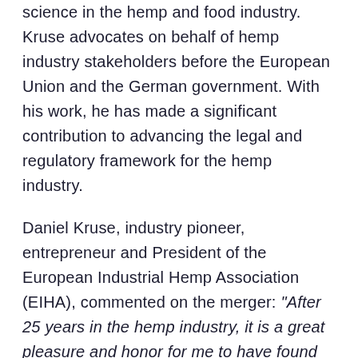science in the hemp and food industry. Kruse advocates on behalf of hemp industry stakeholders before the European Union and the German government. With his work, he has made a significant contribution to advancing the legal and regulatory framework for the hemp industry.
Daniel Kruse, industry pioneer, entrepreneur and President of the European Industrial Hemp Association (EIHA), commented on the merger: “After 25 years in the hemp industry, it is a great pleasure and honor for me to have found the right partner for the coming decades with SynBiotic SE. Our decades of experience alongside the supply chain of our group of companies find an excellent complement in the